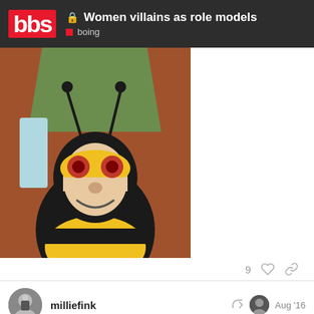bbs | Women villains as role models | boing
[Figure (illustration): Cartoon illustration of a bee-themed villain character with yellow mask with red eyes, black bodysuit, yellow and black costume, and antennae, set against a green and brown background.]
9 likes
milliefink   Aug '16
So you're saying you wouldn't want your k about that article? Because I think that wo
16 / 79